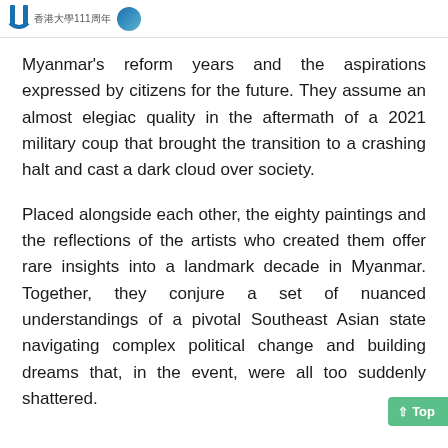香港大學111周年
Myanmar's reform years and the aspirations expressed by citizens for the future. They assume an almost elegiac quality in the aftermath of a 2021 military coup that brought the transition to a crashing halt and cast a dark cloud over society.
Placed alongside each other, the eighty paintings and the reflections of the artists who created them offer rare insights into a landmark decade in Myanmar. Together, they conjure a set of nuanced understandings of a pivotal Southeast Asian state navigating complex political change and building dreams that, in the event, were all too suddenly shattered.